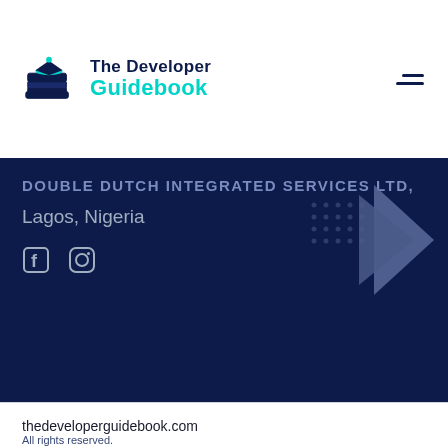The Developer Guidebook
DOUBLE DUTCH INTEGRATED SERVICES LTD,
Lagos, Nigeria
[Figure (logo): Facebook and Instagram social media icons]
[Figure (illustration): Decorative dot grid pattern with a large forward-pointing play arrow shape in muted blue]
thedeveloperguidebook.com
All rights reserved.